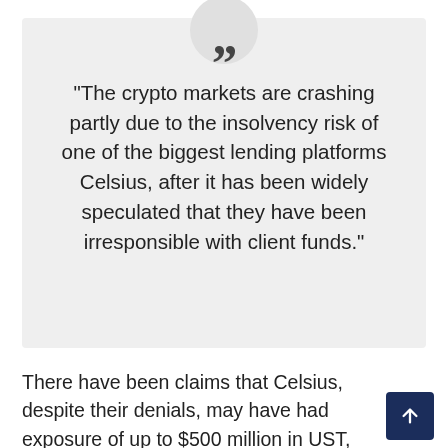“The crypto markets are crashing partly due to the insolvency risk of one of the biggest lending platforms Celsius, after it has been widely speculated that they have been irresponsible with client funds.”
There have been claims that Celsius, despite their denials, may have had exposure of up to $500 million in UST, which collapsed in early May.